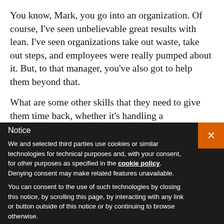You know, Mark, you go into an organization. Of course, I've seen unbelievable great results with lean. I've seen organizations take out waste, take out steps, and employees were really pumped about it. But, to that manager, you've also got to help them beyond that.
What are some other skills that they need to give them time back, whether it's handling a
Notice
We and selected third parties use cookies or similar technologies for technical purposes and, with your consent, for other purposes as specified in the cookie policy. Denying consent may make related features unavailable.
You can consent to the use of such technologies by closing this notice, by scrolling this page, by interacting with any link or button outside of this notice or by continuing to browse otherwise.